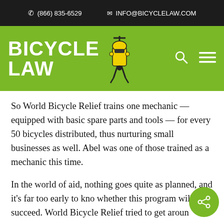(866) 835-6529   INFO@BICYCLELAW.COM
[Figure (logo): Bicycle Law logo on green navigation bar with search and menu icons]
So World Bicycle Relief trains one mechanic — equipped with basic spare parts and tools — for every 50 bicycles distributed, thus nurturing small businesses as well. Abel was one of those trained as a mechanic this time.
In the world of aid, nothing goes quite as planned, and it's far too early to know whether this program will succeed. World Bicycle Relief tried to get around